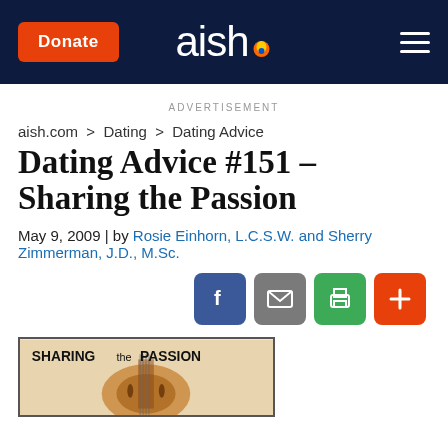Donate | aish. | ≡
ADVERTISEMENT
aish.com > Dating > Dating Advice
Dating Advice #151 – Sharing the Passion
May 9, 2009 | by Rosie Einhorn, L.C.S.W. and Sherry Zimmerman, J.D., M.Sc.
[Figure (other): Social share icons: Facebook (blue), Email (gray), Print (green), Plus/Add (orange-red)]
[Figure (photo): Book cover image showing 'SHARING the PASSION' text over a close-up of a violin]